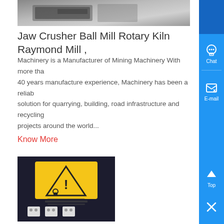[Figure (photo): Top partial image showing industrial machinery on a gray surface]
Jaw Crusher Ball Mill Rotary Kiln Raymond Mill ,
Machinery is a Manufacturer of Mining Machinery With more than 40 years manufacture experience, Machinery has been a reliable solution for quarrying, building, road infrastructure and recycling projects around the world...
Know More
[Figure (photo): Industrial equipment with yellow warning label/sticker showing hazard symbol, and white electrical connectors or terminals below it, against a dark background]